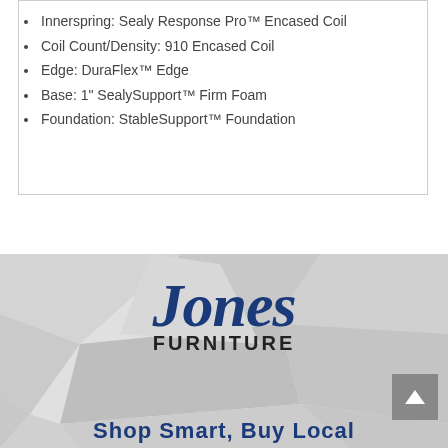Innerspring: Sealy Response Pro™ Encased Coil
Coil Count/Density: 910 Encased Coil
Edge: DuraFlex™ Edge
Base: 1" SealySupport™ Firm Foam
Foundation: StableSupport™ Foundation
[Figure (logo): Jones Furniture logo with cursive 'Jones' text in dark navy blue and 'FURNITURE' in bold black caps below]
Shop Smart, Buy Local